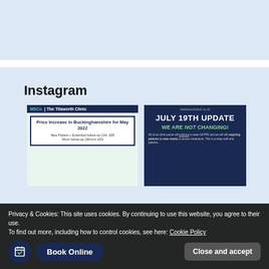Facebook
Instagram
[Figure (screenshot): Instagram post from The Tilsworth Clinic: Price Increase in Buckinghamshire for May 2022. New Patient + Extended follow-up (1h): £95. Short follow-up (30min): £53]
[Figure (screenshot): Instagram post: JULY 19TH UPDATE - WE ARE NOT CHANGING! Text about continuing to wear full PPE and requiring patients to wear masks.]
Privacy & Cookies: This site uses cookies. By continuing to use this website, you agree to their use. To find out more, including how to control cookies, see here: Cookie Policy
Book Online
Close and accept